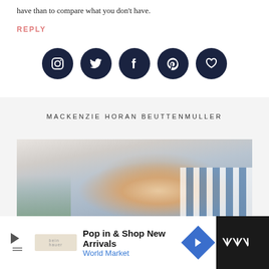have than to compare what you don’t have.
REPLY
[Figure (infographic): Five dark navy circular social media icon buttons: Instagram, Twitter, Facebook, Pinterest, and a heart/favorites icon]
MACKENZIE HORAN BEUTTENMULLER
[Figure (photo): Portrait photo of a smiling red-haired woman seated in a blue and white striped chair, with pink lily flowers visible on the left side]
[Figure (infographic): Advertisement bar for World Market: Pop in & Shop New Arrivals, with play button, World Market logo, blue diamond arrow icon, and WM logo on dark background]